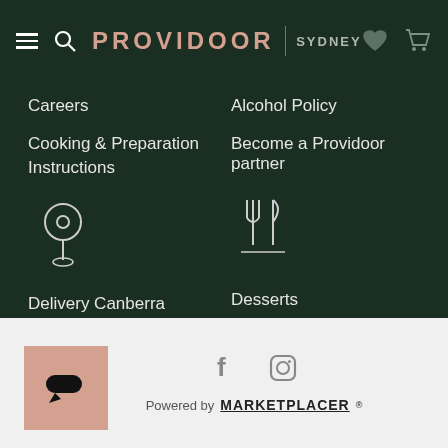PROVIDOOR SYDNEY — Navigation Header
Careers
Alcohol Policy
Cooking & Preparation Instructions
Become a Providoor partner
[Figure (illustration): White outline icon of a map pin / location marker on a stand]
[Figure (illustration): White outline icon of a fork and knife (cutlery)]
Delivery Canberra
Desserts
Delivery Central Coast
Seafood
Delivery Newcastle
Wine
Delivery Wollongong
[Figure (logo): Marketplacer chat bubble logo, pink/salmon square with black speech bubble icon]
[Figure (illustration): Facebook and Instagram social media icons in grey]
Powered by MARKETPLACER